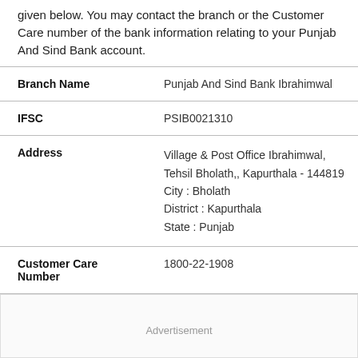given below. You may contact the branch or the Customer Care number of the bank information relating to your Punjab And Sind Bank account.
| Field | Value |
| --- | --- |
| Branch Name | Punjab And Sind Bank Ibrahimwal |
| IFSC | PSIB0021310 |
| Address | Village & Post Office Ibrahimwal, Tehsil Bholath,, Kapurthala - 144819
City : Bholath
District : Kapurthala
State : Punjab |
| Customer Care Number | 1800-22-1908 |
Advertisement